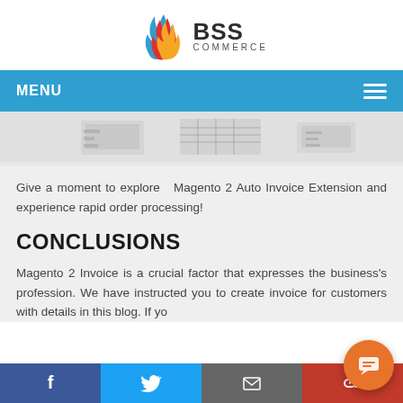[Figure (logo): BSS Commerce logo with flame icon and bold BSS COMMERCE text]
MENU
[Figure (screenshot): Gray hero image showing partial laptop/tablet screens]
Give a moment to explore  Magento 2 Auto Invoice Extension and experience rapid order processing!
CONCLUSIONS
Magento 2 Invoice is a crucial factor that expresses the business's profession. We have instructed you to create invoice for customers with details in this blog. If yo
[Figure (infographic): Social media share bar at bottom with Facebook, Twitter, Email, chain link icons and orange chat bubble]